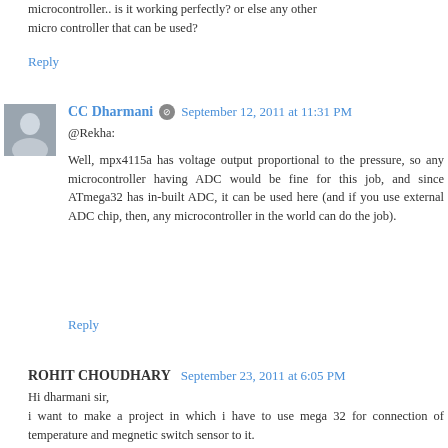microcontroller.. is it working perfectly? or else any other micro controller that can be used?
Reply
CC Dharmani — September 12, 2011 at 11:31 PM
@Rekha:
Well, mpx4115a has voltage output proportional to the pressure, so any microcontroller having ADC would be fine for this job, and since ATmega32 has in-built ADC, it can be used here (and if you use external ADC chip, then, any microcontroller in the world can do the job).
Reply
ROHIT CHOUDHARY — September 23, 2011 at 6:05 PM
Hi dharmani sir,
i want to make a project in which i have to use mega 32 for connection of temperature and megnetic switch sensor to it.
i want the output on lcd and loudspeakar.